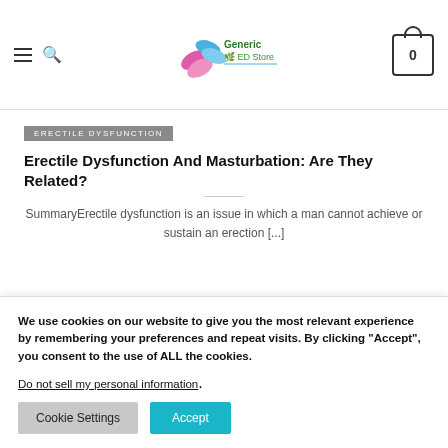[Figure (screenshot): Website header with hamburger menu, search icon, Generic ED Store logo, and shopping cart icon showing 0 items]
ERECTILE DYSFUNCTION
Erectile Dysfunction And Masturbation: Are They Related?
SummaryErectile dysfunction is an issue in which a man cannot achieve or sustain an erection [...]
[Figure (illustration): Speech bubble illustration with text 'ED Treatments?' in blue outline style with cloud/thought bubble shapes]
We use cookies on our website to give you the most relevant experience by remembering your preferences and repeat visits. By clicking “Accept”, you consent to the use of ALL the cookies.
Do not sell my personal information.